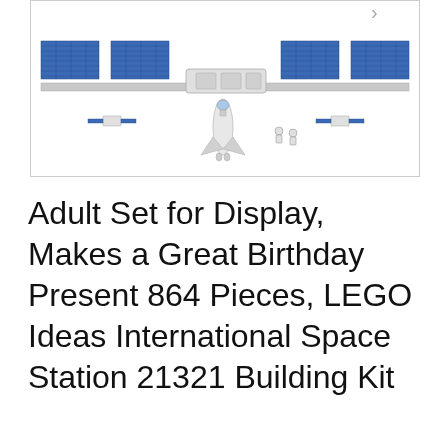[Figure (photo): LEGO International Space Station 21321 product photo showing the ISS model with solar panels extended and a space shuttle nearby, white background]
Adult Set for Display, Makes a Great Birthday Present 864 Pieces, LEGO Ideas International Space Station 21321 Building Kit
#ad
As an Amazon Associate I earn from qualifying purchases. This website uses the only necessary cookies to ensure you get the best experience on our website. More information